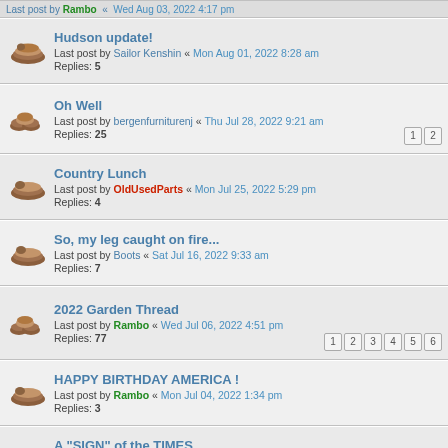Hudson update! — Last post by Sailor Kenshin « Mon Aug 01, 2022 8:28 am — Replies: 5
Oh Well — Last post by bergenfurniturenj « Thu Jul 28, 2022 9:21 am — Replies: 25 — Pages: 1 2
Country Lunch — Last post by OldUsedParts « Mon Jul 25, 2022 5:29 pm — Replies: 4
So, my leg caught on fire... — Last post by Boots « Sat Jul 16, 2022 9:33 am — Replies: 7
2022 Garden Thread — Last post by Rambo « Wed Jul 06, 2022 4:51 pm — Replies: 77 — Pages: 1 2 3 4 5 6
HAPPY BIRTHDAY AMERICA ! — Last post by Rambo « Mon Jul 04, 2022 1:34 pm — Replies: 3
A "SIGN" of the TIMES — Last post by OldUsedParts « Mon Jul 04, 2022 7:53 am — Replies: 2